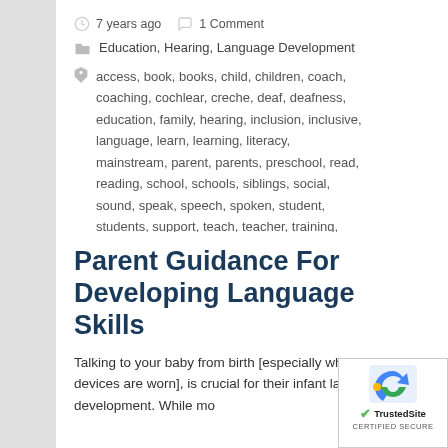7 years ago   1 Comment
Education, Hearing, Language Development
access, book, books, child, children, coach, coaching, cochlear, creche, deaf, deafness, education, family, hearing, inclusion, inclusive, language, learn, learning, literacy, mainstream, parent, parents, preschool, read, reading, school, schools, siblings, social, sound, speak, speech, spoken, student, students, support, teach, teacher, training, visual, words
Parent Guidance For Developing Language Skills
Talking to your baby from birth [especially when hearing-devices are worn], is crucial for their infant language development. While mo...